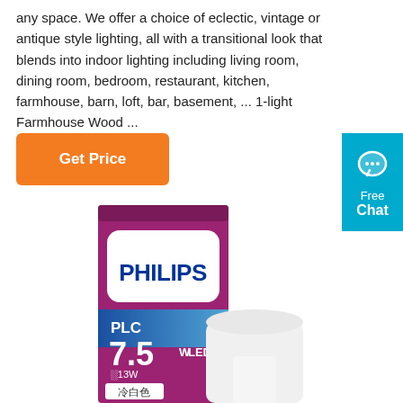any space. We offer a choice of eclectic, vintage or antique style lighting, all with a transitional look that blends into indoor lighting including living room, dining room, bedroom, restaurant, kitchen, farmhouse, barn, loft, bar, basement, ... 1-light Farmhouse Wood ...
Get Price
[Figure (photo): Philips PLC 7.5W LED (replacement for 13W) cool white light bulb product box with the bulb visible, in a purple/magenta colored packaging with blue Philips logo label]
[Figure (infographic): Free Chat button widget in cyan/teal blue with a chat bubble icon, text 'Free Chat']